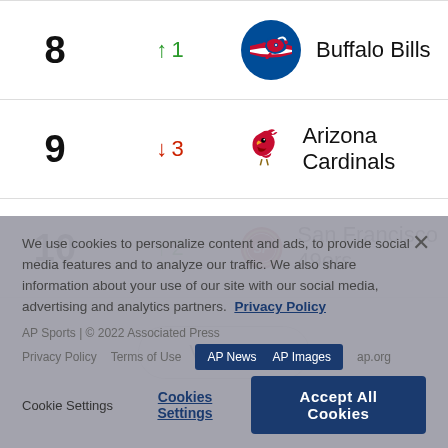| Rank | Change | Team |
| --- | --- | --- |
| 8 | ↑ 1 | Buffalo Bills |
| 9 | ↓ 3 | Arizona Cardinals |
| 10 | ↑ 2 | San Francisco 49ers |
View All
We use cookies to personalize content and ads, to provide social media features and to analyze our traffic. We also share information about your use of our site with our social media, advertising and analytics partners. Privacy Policy
AP Sports | © 2022 Associated Press
Privacy Policy   Terms of Use   AP News   AP Images   ap.org   Cookie Settings
Cookies Settings   Accept All Cookies